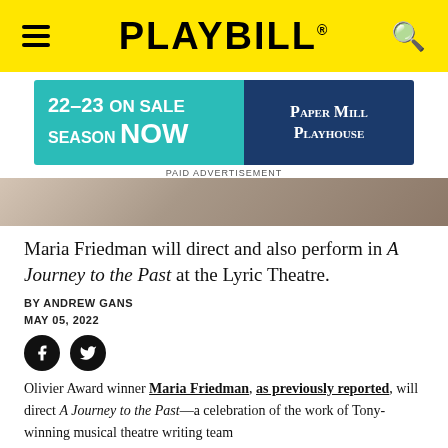PLAYBILL
[Figure (infographic): Advertisement banner for Paper Mill Playhouse 22-23 Season On Sale Now]
PAID ADVERTISEMENT
[Figure (photo): Partial photo strip of people]
Maria Friedman will direct and also perform in A Journey to the Past at the Lyric Theatre.
BY ANDREW GANS
MAY 05, 2022
[Figure (infographic): Facebook and Twitter social share icons]
Olivier Award winner Maria Friedman, as previously reported, will direct A Journey to the Past—a celebration of the work of Tony-winning musical theatre writing team